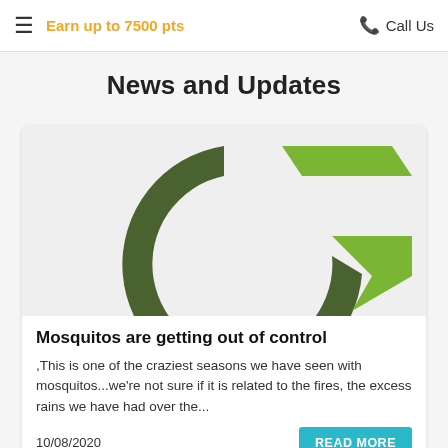≡  Earn up to 7500 pts    ☎ Call Us
News and Updates
[Figure (logo): Circular green and light-green arrow logo on light grey background, partially cropped]
Mosquitos are getting out of control
,This is one of the craziest seasons we have seen with mosquitos...we're not sure if it is related to the fires, the excess rains we have had over the...
10/08/2020
READ MORE